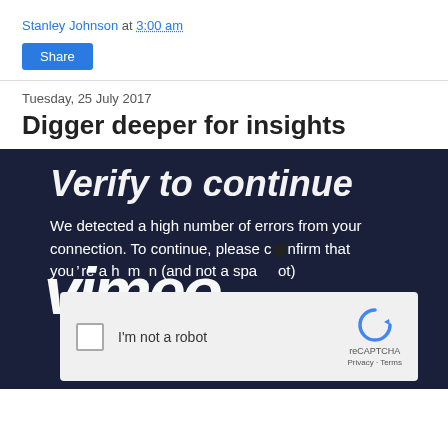Stanley Johnson at 3:00 am
Share
Tuesday, 25 July 2017
Digger deeper for insights
[Figure (screenshot): Screenshot of a Vimeo CAPTCHA error page showing 'Verify to continue' header, error message 'We detected a high number of errors from your connection. To continue, please confirm that you’re a human (and not a spambot)', the Vimeo logo overlaid, and a reCAPTCHA 'I'm not a robot' checkbox widget.]